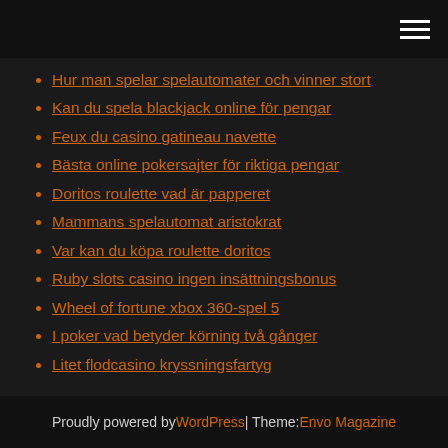Hur man spelar spelautomater och vinner stort
Kan du spela blackjack online för pengar
Feux du casino gatineau navette
Bästa online pokersajter för riktiga pengar
Doritos roulette vad är papperet
Mammans spelautomat aristokrat
Var kan du köpa roulette doritos
Ruby slots casino ingen insättningsbonus
Wheel of fortune xbox 360-spel 5
I poker vad betyder körning två gånger
Litet flodcasino kryssningsfartyg
Proudly powered by WordPress | Theme: Envo Magazine